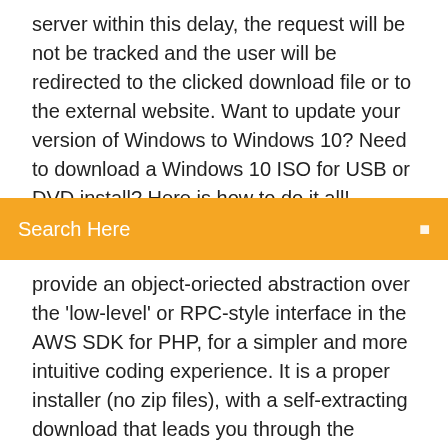server within this delay, the request will be not be tracked and the user will be redirected to the clicked download file or to the external website. Want to update your version of Windows to Windows 10? Need to download a Windows 10 ISO for USB or DVD install? Here is how to do it all!
Search Here
provide an object-oriected abstraction over the 'low-level' or RPC-style interface in the AWS SDK for PHP, for a simpler and more intuitive coding experience. It is a proper installer (no zip files), with a self-extracting download that leads you through the installation process. Free Client File Uploader downloads. Client FILE Uploader. Silverlight Multi File Uploader. The Silverlight Multi File Uploader is a free Silverlight 5 application. It can be used to upload. Leave a Reply Cancel reply The Bullzip PDF Printer works as a Microsoft Windows printer and allows you to write PDF documents from virtually any Microsoft Windows